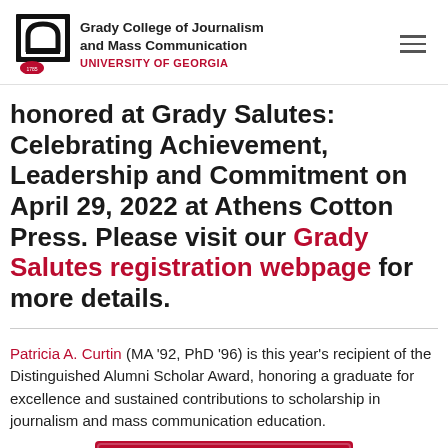Grady College of Journalism and Mass Communication — UNIVERSITY OF GEORGIA
honored at Grady Salutes: Celebrating Achievement, Leadership and Commitment on April 29, 2022 at Athens Cotton Press. Please visit our Grady Salutes registration webpage for more details.
Patricia A. Curtin (MA '92, PhD '96) is this year's recipient of the Distinguished Alumni Scholar Award, honoring a graduate for excellence and sustained contributions to scholarship in journalism and mass communication education.
[Figure (other): Red award card graphic reading '2022 ALUMNI AWARDS' and 'PAT CURTIN' with UGA arch icon]